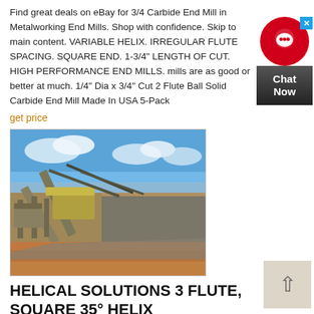Find great deals on eBay for 3/4 Carbide End Mill in Metalworking End Mills. Shop with confidence. Skip to main content. VARIABLE HELIX. IRREGULAR FLUTE SPACING. SQUARE END. 1-3/4" LENGTH OF CUT. HIGH PERFORMANCE END MILLS. mills are as good or better at much. 1/4" Dia x 3/4" Cut 2 Flute Ball Solid Carbide End Mill Made In USA 5-Pack
get price
[Figure (photo): Outdoor mining or quarrying facility with conveyor belts, industrial equipment, and a large pile of aggregate/crushed stone. Orange-red soil in foreground, blue sky with clouds in background.]
HELICAL SOLUTIONS 3 FLUTE, SQUARE 35° HELIX
Helical solutions 3 flute, square 35° helix end mill. Cylindrical